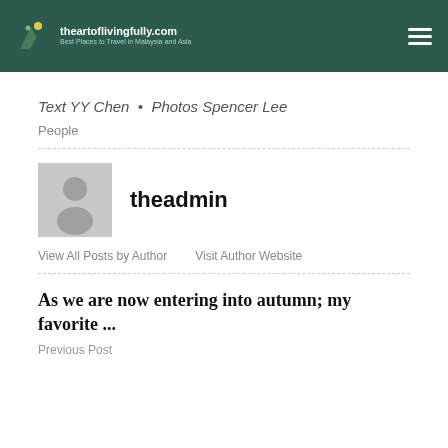theartoflivingfully.com — Best Places to Travel in Malaysia and Asia
Text YY Chen  •  Photos Spencer Lee
People
theadmin
View All Posts by Author    Visit Author Website
As we are now entering into autumn; my favorite ...
Previous Post